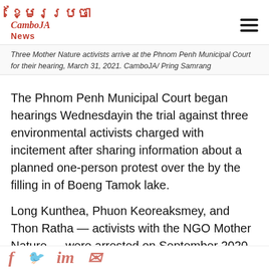CamboJA News (logo)
Three Mother Nature activists arrive at the Phnom Penh Municipal Court for their hearing, March 31, 2021. CamboJA/ Pring Samrang
The Phnom Penh Municipal Court began hearings Wednesdayin the trial against three environmental activists charged with incitement after sharing information about a planned one-person protest over the by the filling in of Boeng Tamok lake.
Long Kunthea, Phuon Keoreaksmey, and Thon Ratha — activists with the NGO Mother Nature — were arrested on September 2020 over posts they made or shared on social media saying Kunthea planned to